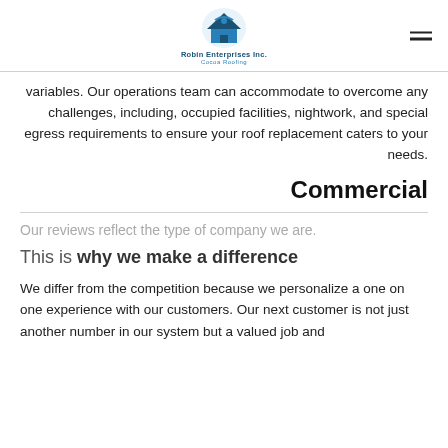Robin Enterprises Inc. Cocoa Roofing
variables. Our operations team can accommodate to overcome any challenges, including, occupied facilities, nightwork, and special egress requirements to ensure your roof replacement caters to your needs.
Commercial
Our reviews reflect the type of company we are.
This is why we make a difference
We differ from the competition because we personalize a one on one experience with our customers. Our next customer is not just another number in our system but a valued job and